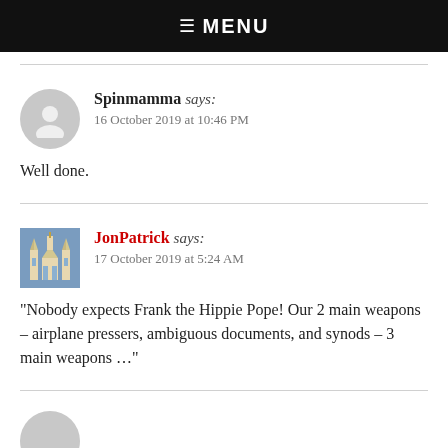☰ MENU
Spinmamma says:
16 October 2019 at 10:46 PM
Well done.
JonPatrick says:
17 October 2019 at 5:24 AM
“Nobody expects Frank the Hippie Pope! Our 2 main weapons – airplane pressers, ambiguous documents, and synods – 3 main weapons …”